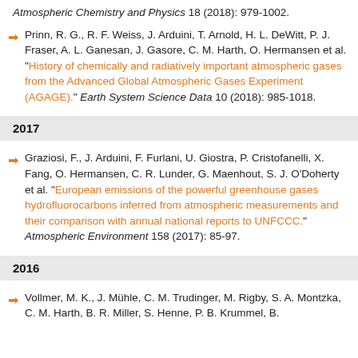Atmospheric Chemistry and Physics 18 (2018): 979-1002.
Prinn, R. G., R. F. Weiss, J. Arduini, T. Arnold, H. L. DeWitt, P. J. Fraser, A. L. Ganesan, J. Gasore, C. M. Harth, O. Hermansen et al. "History of chemically and radiatively important atmospheric gases from the Advanced Global Atmospheric Gases Experiment (AGAGE)." Earth System Science Data 10 (2018): 985-1018.
2017
Graziosi, F., J. Arduini, F. Furlani, U. Giostra, P. Cristofanelli, X. Fang, O. Hermansen, C. R. Lunder, G. Maenhout, S. J. O'Doherty et al. "European emissions of the powerful greenhouse gases hydrofluorocarbons inferred from atmospheric measurements and their comparison with annual national reports to UNFCCC." Atmospheric Environment 158 (2017): 85-97.
2016
Vollmer, M. K., J. Mühle, C. M. Trudinger, M. Rigby, S. A. Montzka, C. M. Harth, B. R. Miller, S. Henne, P. B. Krummel, B.